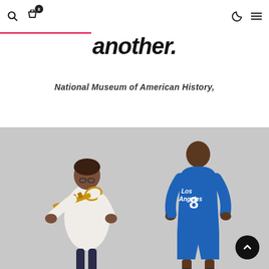another.
another.
National Museum of American History,
[Figure (photo): Gray background photo showing two figures: a jazz musician on the left playing a trumpet wearing a white suit, and a basketball player on the right wearing a blue Los Angeles Lakers jersey with number 8.]